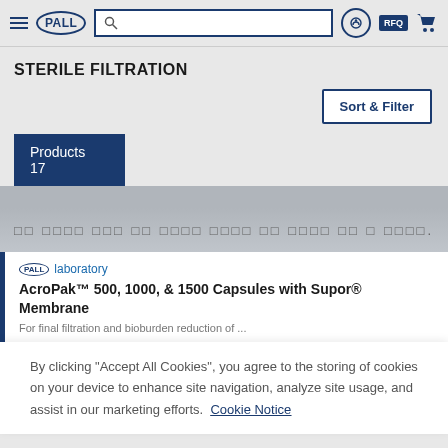PALL navigation bar with logo, search box, RFQ and cart icons
STERILE FILTRATION
Sort & Filter
Products 17
□□ □□□□ □□□ □□ □□□□ □□□□ □□ □□□□ □□ □ □□□□.
PALL laboratory
AcroPak™ 500, 1000, & 1500 Capsules with Supor® Membrane
By clicking "Accept All Cookies", you agree to the storing of cookies on your device to enhance site navigation, analyze site usage, and assist in our marketing efforts.  Cookie Notice